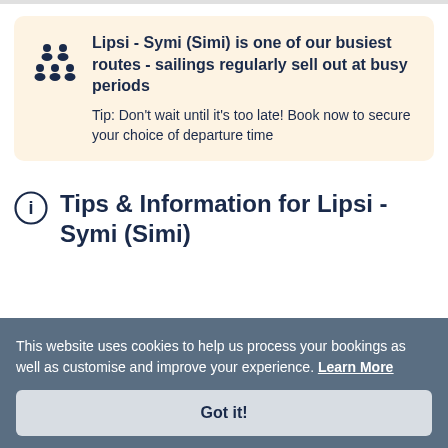Lipsi - Symi (Simi) is one of our busiest routes - sailings regularly sell out at busy periods. Tip: Don't wait until it's too late! Book now to secure your choice of departure time
Tips & Information for Lipsi - Symi (Simi)
This website uses cookies to help us process your bookings as well as customise and improve your experience. Learn More